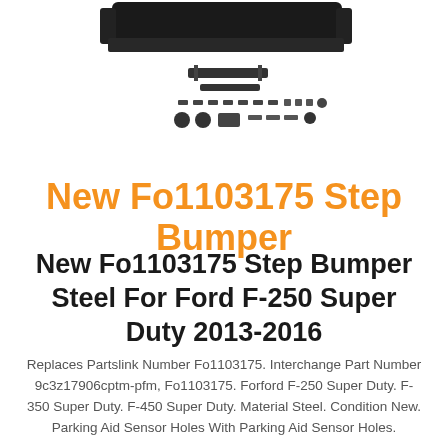[Figure (photo): Product photo of a black steel step bumper with mounting hardware including brackets, bolts, and fasteners displayed below the bumper.]
New Fo1103175 Step Bumper
New Fo1103175 Step Bumper Steel For Ford F-250 Super Duty 2013-2016
Replaces Partslink Number Fo1103175. Interchange Part Number 9c3z17906cptm-pfm, Fo1103175. Forford F-250 Super Duty. F-350 Super Duty. F-450 Super Duty. Material Steel. Condition New. Parking Aid Sensor Holes With Parking Aid Sensor Holes.